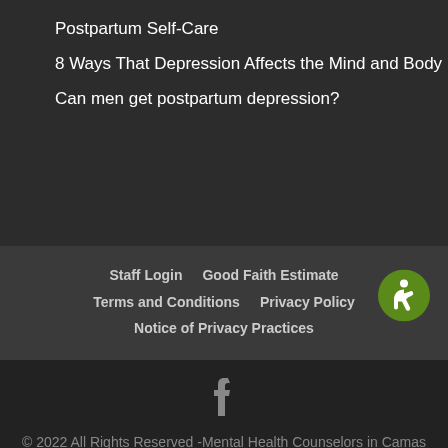Postpartum Self-Care
8 Ways That Depression Affects the Mind and Body
Can men get postpartum depression?
Staff Login   Good Faith Estimate   Terms and Conditions   Privacy Policy   Notice of Privacy Practices
© 2022 All Rights Reserved -Mental Health Counselors in Camas WA | Lacamas Counseling